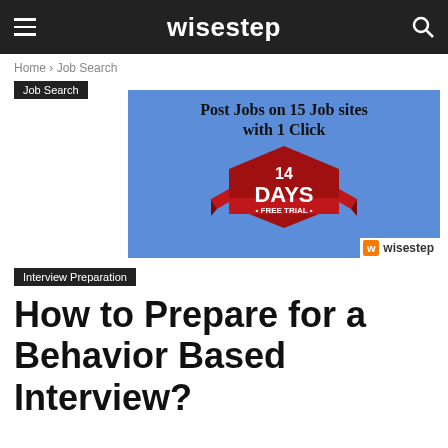wisestep
Home › Job Search
Job Search
[Figure (advertisement): Blue advertisement banner: 'Post Jobs on 15 Job sites with 1 Click' with a red hexagon badge showing '14 DAYS * FREE TRIAL *' and wisestep logo in bottom right corner]
Interview Preparation
How to Prepare for a Behavior Based Interview?